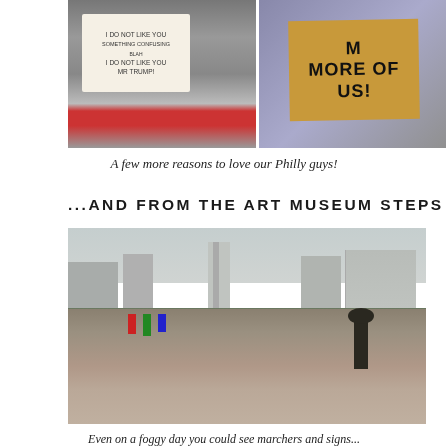[Figure (photo): Two protest photos side by side: left shows a person wearing a sign that reads 'I DO NOT LIKE YOU MR TRUMP!' with red accents; right shows a hand holding a cardboard sign reading 'MORE OF US!']
A few more reasons to love our Philly guys!
...AND FROM THE ART MUSEUM STEPS
[Figure (photo): Aerial view from the Art Museum steps in Philadelphia showing a massive crowd of marchers filling the Benjamin Franklin Parkway, with the city skyline and City Hall tower visible in the foggy background, and a statue silhouette in the foreground right.]
Even on a foggy day you could see marchers and signs...